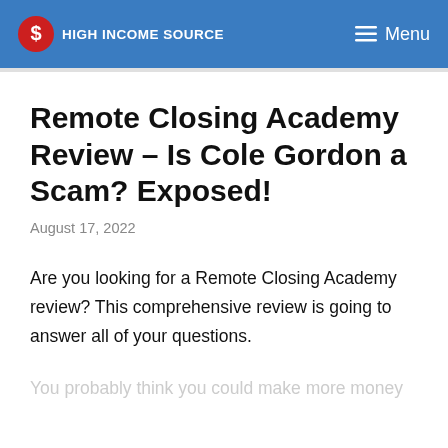HIGH INCOME SOURCE   Menu
Remote Closing Academy Review – Is Cole Gordon a Scam? Exposed!
August 17, 2022
Are you looking for a Remote Closing Academy review? This comprehensive review is going to answer all of your questions.
You probably think you could make more money